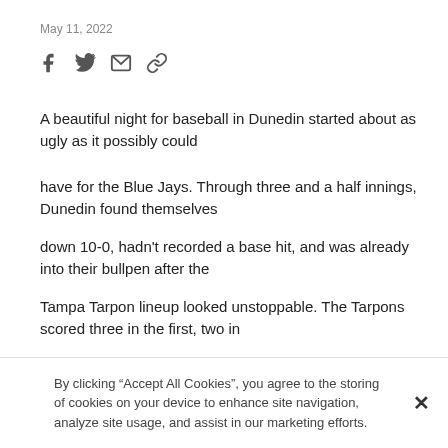May 11, 2022
[Figure (infographic): Social sharing icons: Facebook, Twitter, email, and link/chain icon]
A beautiful night for baseball in Dunedin started about as ugly as it possibly could
have for the Blue Jays. Through three and a half innings, Dunedin found themselves
down 10-0, hadn't recorded a base hit, and was already into their bullpen after the
Tampa Tarpon lineup looked unstoppable. The Tarpons scored three in the first, two in
the second, one in the third, and four in the fourth off of nine hits and two Dunedin
By clicking “Accept All Cookies”, you agree to the storing of cookies on your device to enhance site navigation, analyze site usage, and assist in our marketing efforts.